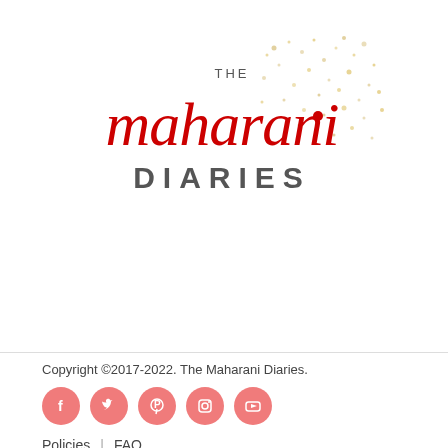[Figure (logo): The Maharani Diaries logo — cursive red script 'the maharani' with gold glitter splatter background and 'DIARIES' in bold gray sans-serif capitals below]
Copyright ©2017-2022. The Maharani Diaries.
[Figure (infographic): Row of 5 round pink social media icons: Facebook, Twitter, Pinterest, Instagram, YouTube]
Policies  |  FAQ